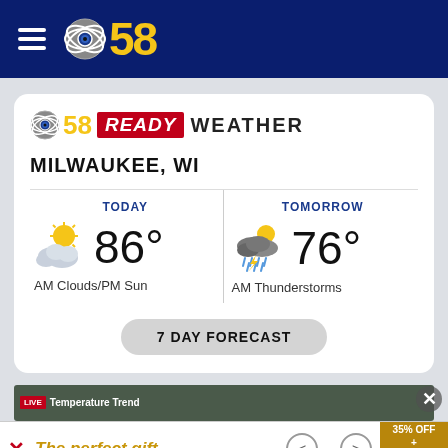[Figure (logo): CBS 58 logo with hamburger menu on dark blue navigation header bar]
[Figure (infographic): CBS 58 Ready Weather card for Milwaukee, WI showing Today 86° AM Clouds/PM Sun and Tomorrow 76° AM Thunderstorms with a 7 Day Forecast button]
[Figure (screenshot): Bottom thumbnail showing Temperature Trend video segment]
[Figure (infographic): Advertisement banner: The perfect gift with navigation arrows and 35% OFF + FREE SHIPPING promo box]